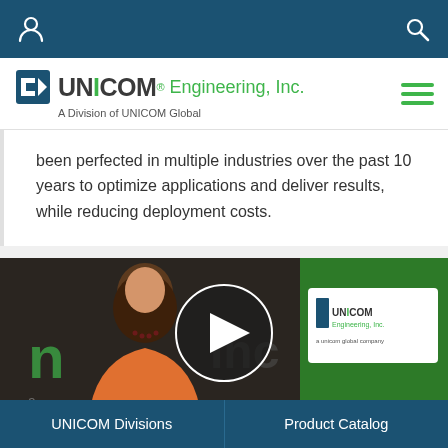UNICOM Engineering, Inc. — Navigation bar
[Figure (logo): UNICOM Engineering, Inc. logo with green 'I' and tagline 'A Division of UNICOM Global']
been perfected in multiple industries over the past 10 years to optimize applications and deliver results, while reducing deployment costs.
[Figure (photo): Video thumbnail showing a woman in an orange top in front of UNICOM Engineering, Inc. signage, with a circular play button overlay. A UNICOM Engineering, Inc. sign is visible on the right side with green background.]
UNICOM Divisions    Product Catalog